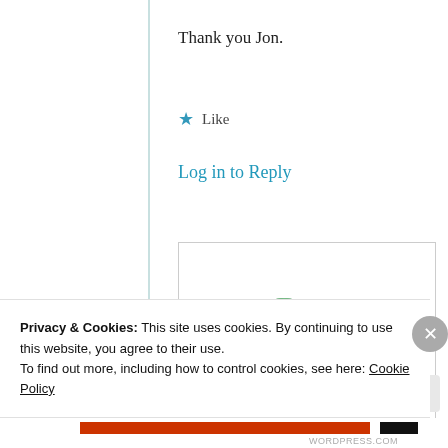Thank you Jon.
★ Like
Log in to Reply
Jonathan Caswell
24th Jun 2021 at 6:22 am
Privacy & Cookies: This site uses cookies. By continuing to use this website, you agree to their use.
To find out more, including how to control cookies, see here: Cookie Policy
Close and accept